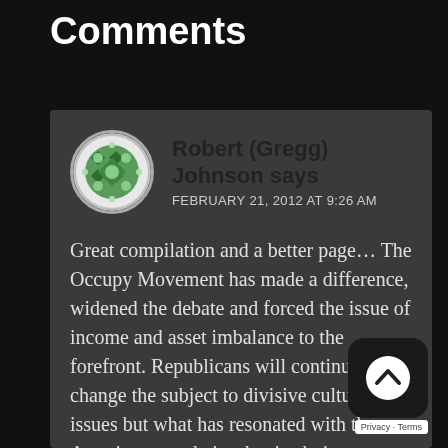Comments
Robert (Gregg) Johnson says
FEBRUARY 21, 2012 AT 9:26 AM
Great compilation and a better page… The Occupy Movement has made a difference, widened the debate and forced the issue of income and asset imbalance to the forefront. Republicans will continue try to change the subject to divisive culture war issues but what has resonated with the American people is what is obvious everyday, right in our faces!
I want to thank Roger, Moonalice , the